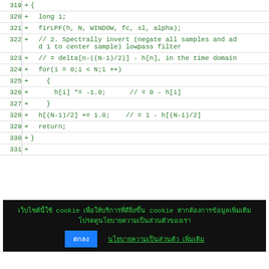| Line | + | Code |
| --- | --- | --- |
| 319 | + | { |
| 320 | + |   long i; |
| 321 | + |   firLPF(h, N, WINDOW, fc, sl, alpha); |
| 322 | + |   // 2. Spectrally invert (negate all samples and add 1 to center sample) lowpass filter |
| 323 | + |   // = delta[n-((N-1)/2)] - h[n], in the time domain |
| 324 | + |   for(i = 0;i < N;i ++) |
| 325 | + |     { |
| 326 | + |       h[i] *= -1.0;      // = 0 - h[i] |
| 327 | + |     } |
| 328 | + |   h[(N-1)/2] += 1.0;    // = 1 - h[(N-1)/2] |
| 329 | + |   return; |
| 330 | + | } |
| 331 | + |  |
Cookie notice bar with accept button